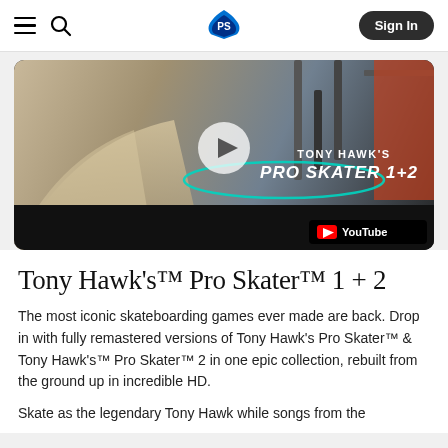PlayStation Navigation Bar with Sign In button
[Figure (screenshot): Tony Hawk's Pro Skater 1+2 YouTube video thumbnail with play button, game logo, and teal arc graphic on dark industrial skatepark background]
Tony Hawk's™ Pro Skater™ 1 + 2
The most iconic skateboarding games ever made are back. Drop in with fully remastered versions of Tony Hawk's Pro Skater™ & Tony Hawk's™ Pro Skater™ 2 in one epic collection, rebuilt from the ground up in incredible HD.
Skate as the legendary Tony Hawk while songs from the